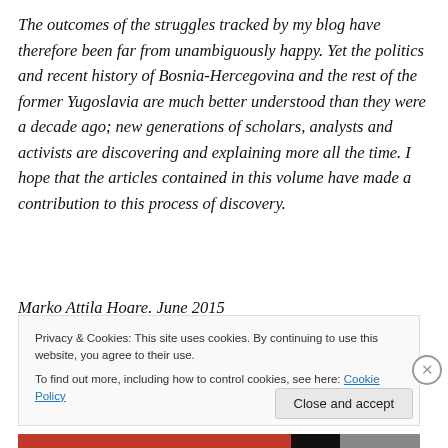The outcomes of the struggles tracked by my blog have therefore been far from unambiguously happy. Yet the politics and recent history of Bosnia-Hercegovina and the rest of the former Yugoslavia are much better understood than they were a decade ago; new generations of scholars, analysts and activists are discovering and explaining more all the time. I hope that the articles contained in this volume have made a contribution to this process of discovery.
Marko Attila Hoare. June 2015
Privacy & Cookies: This site uses cookies. By continuing to use this website, you agree to their use.
To find out more, including how to control cookies, see here: Cookie Policy
Close and accept